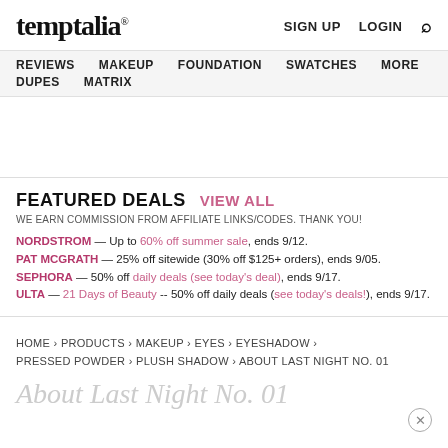temptalia® SIGN UP LOGIN
REVIEWS  MAKEUP  FOUNDATION  SWATCHES  MORE  DUPES  MATRIX
FEATURED DEALS  VIEW ALL
WE EARN COMMISSION FROM AFFILIATE LINKS/CODES. THANK YOU!
NORDSTROM — Up to 60% off summer sale, ends 9/12.
PAT MCGRATH — 25% off sitewide (30% off $125+ orders), ends 9/05.
SEPHORA — 50% off daily deals (see today's deal), ends 9/17.
ULTA — 21 Days of Beauty -- 50% off daily deals (see today's deals!), ends 9/17.
HOME > PRODUCTS > MAKEUP > EYES > EYESHADOW > PRESSED POWDER > PLUSH SHADOW > ABOUT LAST NIGHT NO. 01
About Last Night No. 01